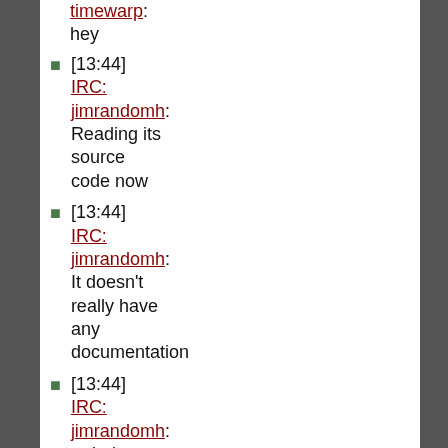timewarp: hey
[13:44] IRC: jimrandomh: Reading its source code now
[13:44] IRC: jimrandomh: It doesn't really have any documentation
[13:44] IRC: jimrandomh: >>help modes
[13:44] IRC: Erkbot: Invalid help